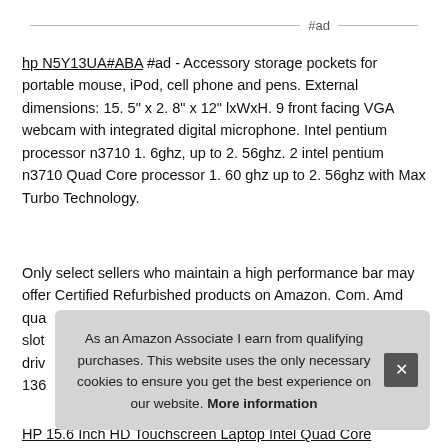#ad
hp N5Y13UA#ABA #ad - Accessory storage pockets for portable mouse, iPod, cell phone and pens. External dimensions: 15. 5" x 2. 8" x 12" lxWxH. 9 front facing VGA webcam with integrated digital microphone. Intel pentium processor n3710 1. 6ghz, up to 2. 56ghz. 2 intel pentium n3710 Quad Core processor 1. 60 ghz up to 2. 56ghz with Max Turbo Technology.
Only select sellers who maintain a high performance bar may offer Certified Refurbished products on Amazon. Com. Amd qua slot dri 136
As an Amazon Associate I earn from qualifying purchases. This website uses the only necessary cookies to ensure you get the best experience on our website. More information
HP 15.6 Inch HD Touchscreen Laptop Intel Quad Core